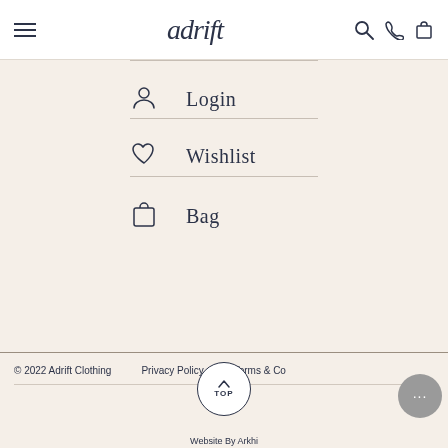adrift
Login
Wishlist
Bag
[Figure (logo): Payment options bar showing Afterpay, Zip, and Klarna logos]
© 2022 Adrift Clothing   Privacy Policy   Terms & Co...   Website By Arkhi